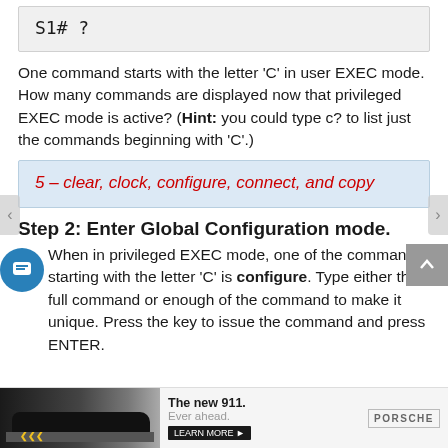S1# ?
One command starts with the letter 'C' in user EXEC mode. How many commands are displayed now that privileged EXEC mode is active? (Hint: you could type c? to list just the commands beginning with 'C'.)
5 – clear, clock, configure, connect, and copy
Step 2: Enter Global Configuration mode.
When in privileged EXEC mode, one of the commands starting with the letter 'C' is configure. Type either the full command or enough of the command to make it unique. Press the key to issue the command and press ENTER.
[Figure (photo): Advertisement banner for Porsche new 911 with car image, headline 'The new 911. Ever ahead.' and LEARN MORE button with Porsche logo]